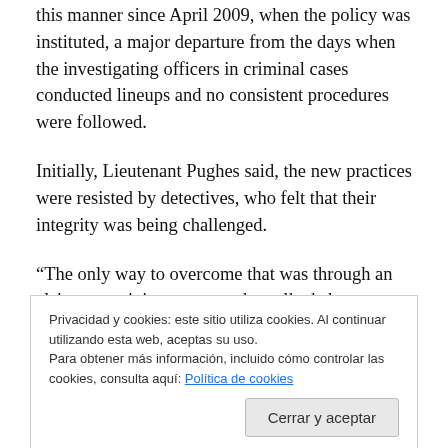this manner since April 2009, when the policy was instituted, a major departure from the days when the investigating officers in criminal cases conducted lineups and no consistent procedures were followed.
Initially, Lieutenant Pughes said, the new practices were resisted by detectives, who felt that their integrity was being challenged.
“The only way to overcome that was through an elaborate training program that talked about memory and physiology
Privacidad y cookies: este sitio utiliza cookies. Al continuar utilizando esta web, aceptas su uso.
Para obtener más información, incluido cómo controlar las cookies, consulta aquí: Política de cookies
felt it was too suggestive,” said Lt. Matthew Murray, an